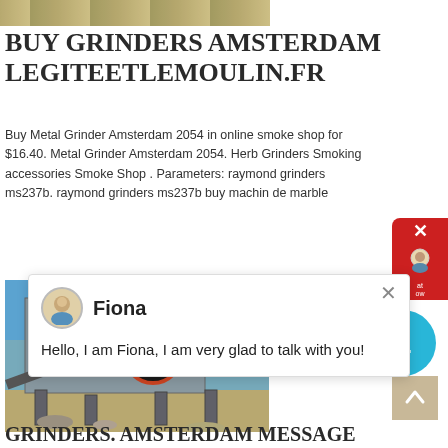[Figure (photo): Aerial/ground-level photo of a quarry or mining site with sandy/rocky terrain]
BUY GRINDERS AMSTERDAM LEGITEETLEMOULIN.FR
Buy Metal Grinder Amsterdam 2054 in online smoke shop for $16.40. Metal Grinder Amsterdam 2054. Herb Grinders Smoking accessories Smoke Shop . Parameters: raymond grinders ms237b. raymond grinders ms237b buy machin de marble
[Figure (photo): Industrial jaw crusher machine on a construction/mining site with blue sky background]
GRINDERS. AMSTERDAM MESSAGE